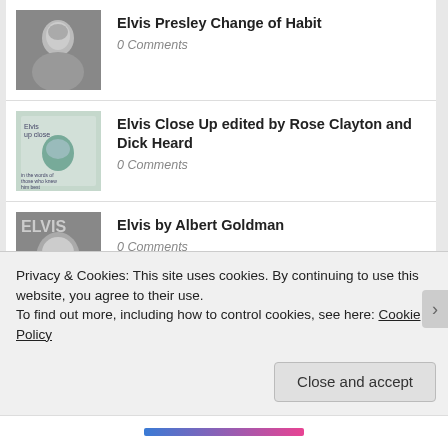Elvis Presley Change of Habit
0 Comments
Elvis Close Up edited by Rose Clayton and Dick Heard
0 Comments
Elvis by Albert Goldman
0 Comments
The Graceland Gates by Harold Loyd
1 Comment
Privacy & Cookies: This site uses cookies. By continuing to use this website, you agree to their use.
To find out more, including how to control cookies, see here: Cookie Policy
Close and accept